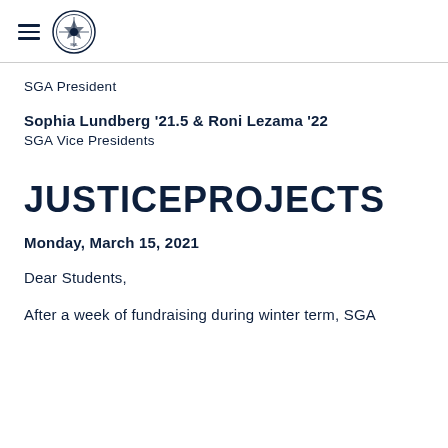SGA President
Sophia Lundberg '21.5 & Roni Lezama '22
SGA Vice Presidents
JUSTICEPROJECTS
Monday, March 15, 2021
Dear Students,
After a week of fundraising during winter term, SGA